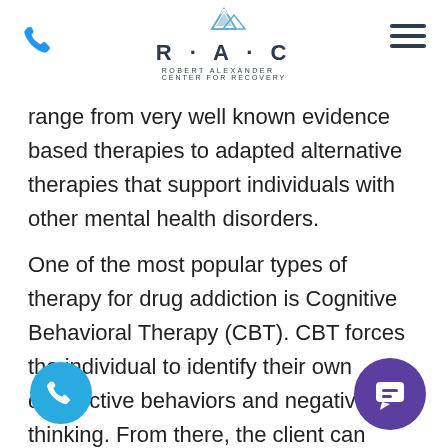R·A·C Robert Alexander Center for Recovery
range from very well known evidence based therapies to adapted alternative therapies that support individuals with other mental health disorders.
One of the most popular types of therapy for drug addiction is Cognitive Behavioral Therapy (CBT). CBT forces the individual to identify their own destructive behaviors and negative thinking. From there, the client can develop coping strategies, learn to identify risky behaviors, learn how to break their previous pattern of